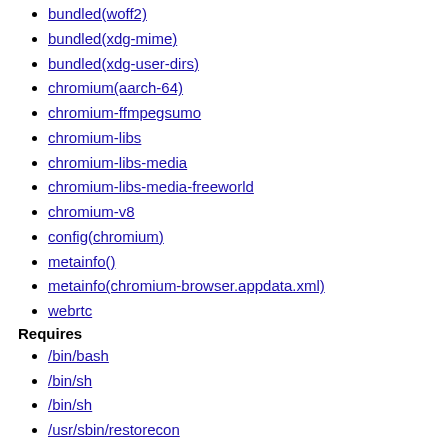bundled(woff2)
bundled(xdg-mime)
bundled(xdg-user-dirs)
chromium(aarch-64)
chromium-ffmpegsumo
chromium-libs
chromium-libs-media
chromium-libs-media-freeworld
chromium-v8
config(chromium)
metainfo()
metainfo(chromium-browser.appdata.xml)
webrtc
Requires
/bin/bash
/bin/sh
/bin/sh
/usr/sbin/restorecon
/usr/sbin/semanage
chromium-common(aarch-64) = 99.0.4844.84-1.el8
config(chromium) = 99.0.4844.84-1.el8
ld-linux-aarch64.so.1()(64bit)